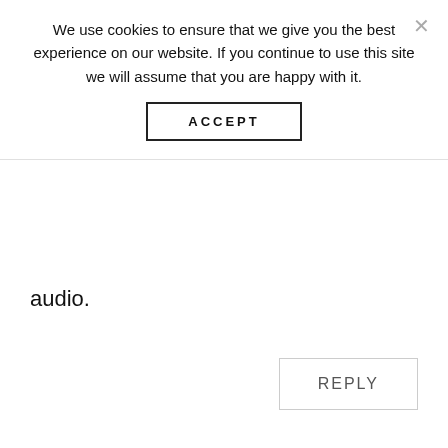We use cookies to ensure that we give you the best experience on our website. If you continue to use this site we will assume that you are happy with it.
ACCEPT
audio.
REPLY
Jane
November 21, 2020 at 2:09 pm
Yes, it has mixed reviews, but it's still a
WHAT'S NEXT → How to Live Cheap: 35...